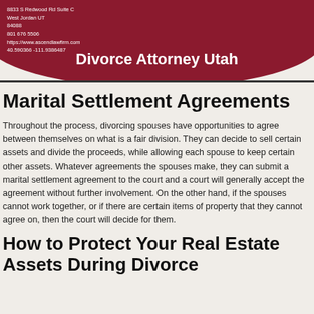[Figure (infographic): Dark red rounded header banner with law firm contact information on the left and 'Divorce Attorney Utah' title centered at bottom. Contact details: 8833 S Redwood Rd Suite C, West Jordan UT, 84088, 801 676 5506, https://www.ascendlawfirm.com, 40.590366 -111.9386487]
Marital Settlement Agreements
Throughout the process, divorcing spouses have opportunities to agree between themselves on what is a fair division. They can decide to sell certain assets and divide the proceeds, while allowing each spouse to keep certain other assets. Whatever agreements the spouses make, they can submit a marital settlement agreement to the court and a court will generally accept the agreement without further involvement. On the other hand, if the spouses cannot work together, or if there are certain items of property that they cannot agree on, then the court will decide for them.
How to Protect Your Real Estate Assets During Divorce